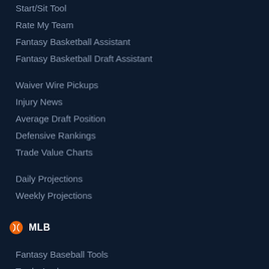Start/Sit Tool
Rate My Team
Fantasy Basketball Assistant
Fantasy Basketball Draft Assistant
Waiver Wire Pickups
Injury News
Average Draft Position
Defensive Rankings
Trade Value Charts
Daily Projections
Weekly Projections
MLB
Fantasy Baseball Tools
Trade Analyzer
Start/Sit Tool